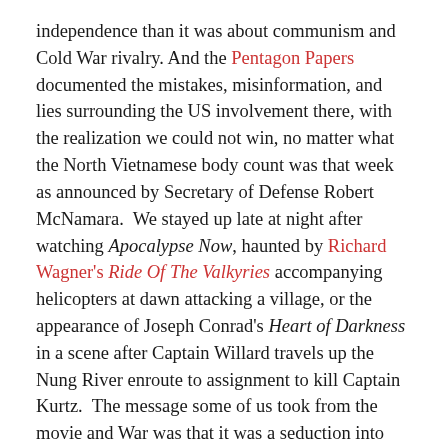independence than it was about communism and Cold War rivalry. And the Pentagon Papers documented the mistakes, misinformation, and lies surrounding the US involvement there, with the realization we could not win, no matter what the North Vietnamese body count was that week as announced by Secretary of Defense Robert McNamara. We stayed up late at night after watching Apocalypse Now, haunted by Richard Wagner's Ride Of The Valkyries accompanying helicopters at dawn attacking a village, or the appearance of Joseph Conrad's Heart of Darkness in a scene after Captain Willard travels up the Nung River enroute to assignment to kill Captain Kurtz. The message some of us took from the movie and War was that it was a seduction into evil—we as a country turned into what we most despised.
Supposedly we learned something from the Vietnam War about the futility of starting a battle with no clear objectives or end game. We supposedly learned that brute force did not prevail, the need to align military power with soft power and our national interests, and that we needed to understand